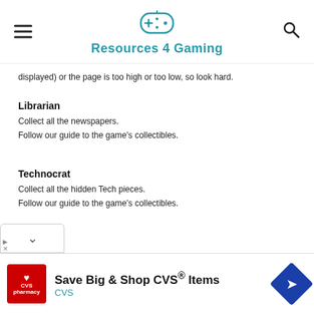Resources 4 Gaming
displayed) or the page is too high or too low, so look hard.
Librarian
Collect all the newspapers.
Follow our guide to the game's collectibles.
Technocrat
Collect all the hidden Tech pieces.
Follow our guide to the game's collectibles.
[Figure (other): Advertisement banner: Save Big & Shop CVS Items with CVS Pharmacy logo]